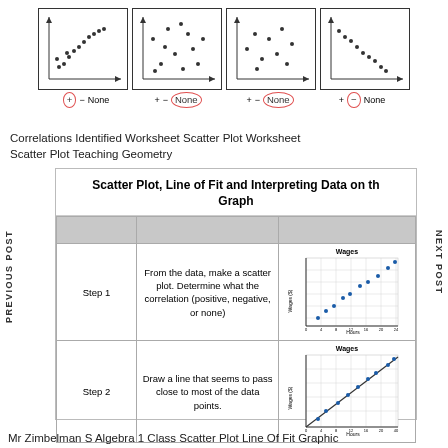[Figure (other): Four scatter plot mini-diagrams with correlation labels (+, -, None) where one label per chart is circled in red to indicate the answer.]
Correlations Identified Worksheet Scatter Plot Worksheet Scatter Plot Teaching Geometry
Scatter Plot, Line of Fit and Interpreting Data on the Graph
|  |  |  |
| --- | --- | --- |
| Step 1 | From the data, make a scatter plot.  Determine what the correlation (positive, negative, or none) | [Wages scatter plot chart - Step 1] |
| Step 2 | Draw a line that seems to pass close to most of the data points. | [Wages scatter plot chart - Step 2 with line of fit] |
Mr Zimbelman S Algebra 1 Class Scatter Plot Line Of Fit Graphic